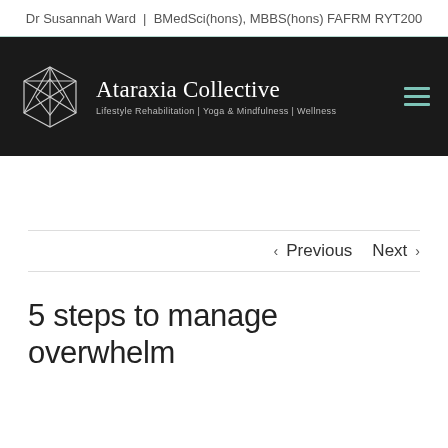Dr Susannah Ward | BMedSci(hons), MBBS(hons) FAFRM RYT200
[Figure (logo): Ataraxia Collective logo with geometric diamond/polygon icon and text 'Ataraxia Collective / Lifestyle Rehabilitation | Yoga & Mindfulness | Wellness' on dark background with hamburger menu icon]
< Previous   Next >
5 steps to manage overwhelm